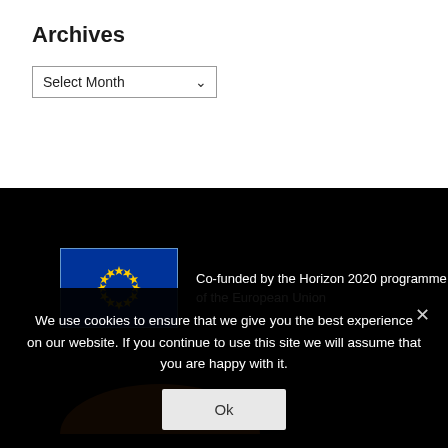Archives
Select Month
[Figure (logo): EU flag with blue background and yellow stars circle, beside text: Co-funded by the Horizon 2020 programme of the European Union]
[Figure (illustration): Orange semicircle shape at bottom of black section]
We use cookies to ensure that we give you the best experience on our website. If you continue to use this site we will assume that you are happy with it.
Ok